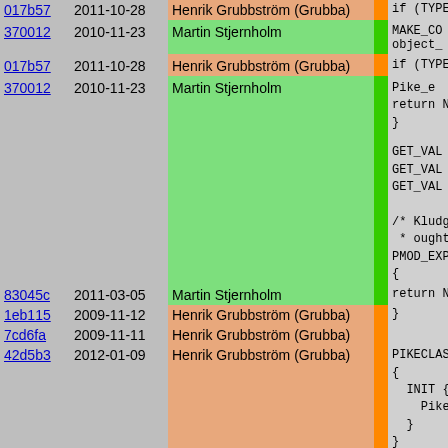| hash | date | author | bar | code |
| --- | --- | --- | --- | --- |
| 017b57 | 2011-10-28 | Henrik Grubbström (Grubba) |  | if (TYPE |
| 370012 | 2010-11-23 | Martin Stjernholm |  | MAKE_CO
object_ |
| 017b57 | 2011-10-28 | Henrik Grubbström (Grubba) |  | if (TYPE |
| 370012 | 2010-11-23 | Martin Stjernholm |  | Pike_e
return
}
GET_VAL (tru
GET_VAL (fa
GET_VAL (nu
/* Kludge ne
 * ought to
PMOD_EXPORT
{ |
| 83045c | 2011-03-05 | Martin Stjernholm |  | return Nu |
| 1eb115 | 2009-11-12 | Henrik Grubbström (Grubba) |  | } |
| 7cd6fa | 2009-11-11 | Henrik Grubbström (Grubba) |  |  |
| 42d5b3 | 2012-01-09 | Henrik Grubbström (Grubba) |  | PIKECLASS _
{
  INIT {
    Pike_err
  }
} |